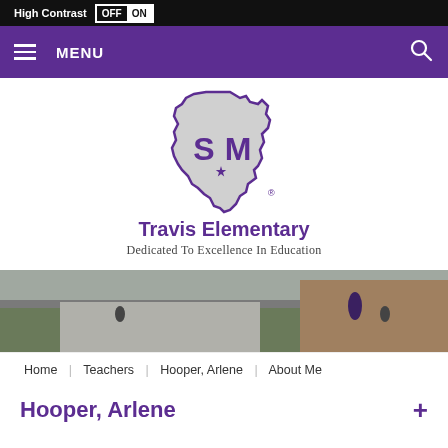High Contrast OFF ON
MENU
[Figure (logo): Texas state outline logo with 'SM' letters inside, purple outline on silver/grey fill, with registered trademark symbol]
Travis Elementary
Dedicated To Excellence In Education
[Figure (photo): Outdoor photo of school campus sidewalk area with students, viewed from above]
Home | Teachers | Hooper, Arlene | About Me
Hooper, Arlene